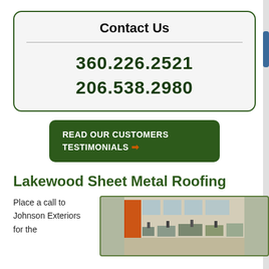Contact Us
360.226.2521
206.538.2980
READ OUR CUSTOMERS TESTIMONIALS →
Lakewood Sheet Metal Roofing
Place a call to Johnson Exteriors for the
[Figure (photo): Interior of a sheet metal manufacturing facility with workers and machinery]